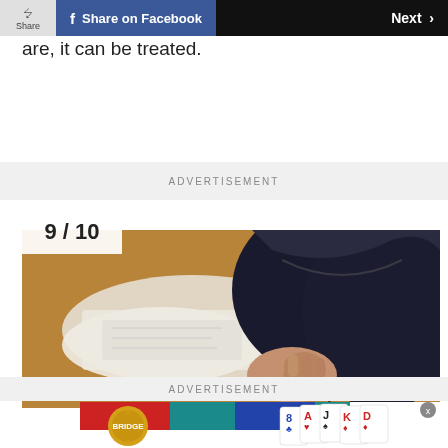Share | Share on Facebook | Next >
are, it can be treated.
ADVERTISEMENT
[Figure (photo): Person with dark hair resting their head on clasped hands over papers on a desk, viewed from above/side angle]
ADVERTISEMENT
[Figure (photo): Bridge card game advertisement banner with gold seal logo and playing cards]